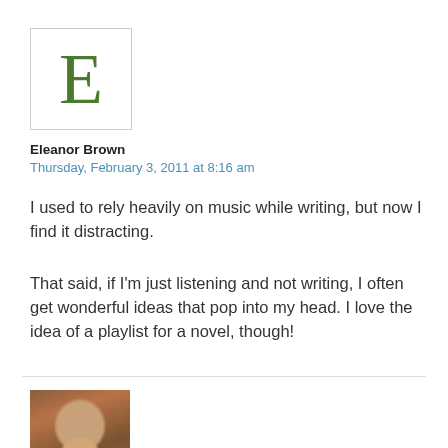[Figure (illustration): Avatar box with large green letter E on white background with grey border]
Eleanor Brown
Thursday, February 3, 2011 at 8:16 am
I used to rely heavily on music while writing, but now I find it distracting.
That said, if I'm just listening and not writing, I often get wonderful ideas that pop into my head. I love the idea of a playlist for a novel, though!
[Figure (photo): Small profile photo of a woman with curly brown hair in front of a brick wall]